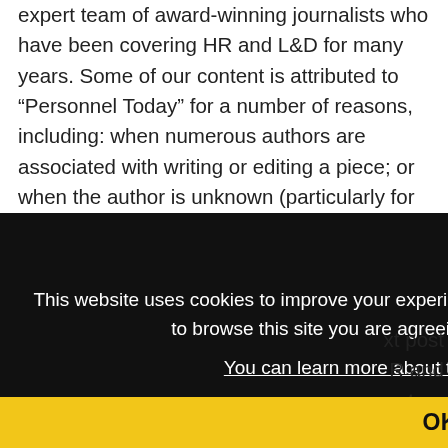expert team of award-winning journalists who have been covering HR and L&D for many years. Some of our content is attributed to "Personnel Today" for a number of reasons, including: when numerous authors are associated with writing or editing a piece; or when the author is unknown (particularly for older articles).
This website uses cookies to improve your experience and for ads personalisation. By continuing to browse this site you are agreeing to our use of these cookies. You can learn more about the cookies we use here.
OK
xt post R and ystem